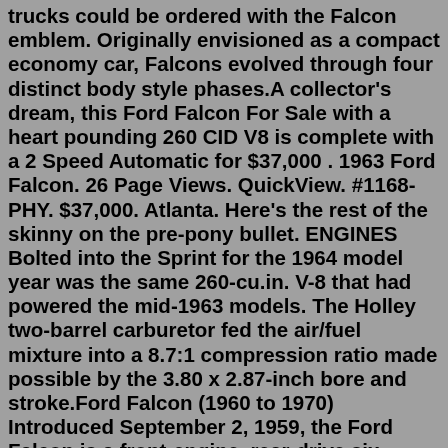trucks could be ordered with the Falcon emblem. Originally envisioned as a compact economy car, Falcons evolved through four distinct body style phases.A collector's dream, this Ford Falcon For Sale with a heart pounding 260 CID V8 is complete with a 2 Speed Automatic for $37,000 . 1963 Ford Falcon. 26 Page Views. QuickView. #1168-PHY. $37,000. Atlanta. Here's the rest of the skinny on the pre-pony bullet. ENGINES Bolted into the Sprint for the 1964 model year was the same 260-cu.in. V-8 that had powered the mid-1963 models. The Holley two-barrel carburetor fed the air/fuel mixture into a 8.7:1 compression ratio made possible by the 3.80 x 2.87-inch bore and stroke.Ford Falcon (1960 to 1970) Introduced September 2, 1959, the Ford Falcon is a front-engine, rear-drive six passenger compact car produced by Ford from 1959 to 1970, across three generations. 1964 Ford Falcon $39,995 Color Blue Miles 76,042 Hayes Auto Sales (866) 385-0068 Roseville, CA 95678 (587 miles away) 29 1964 Ford Falcon Make An Offer $47,000 Color Silver Engine 8